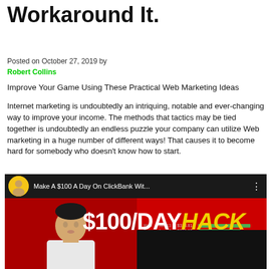Workaround It.
Posted on October 27, 2019 by
Robert Collins
Improve Your Game Using These Practical Web Marketing Ideas
Internet marketing is undoubtedly an intriquing, notable and ever-changing way to improve your income. The methods that tactics may be tied together is undoubtedly an endless puzzle your company can utilize Web marketing in a huge number of different ways! That causes it to become hard for somebody who doesn't know how to start.
[Figure (screenshot): YouTube video thumbnail screenshot showing 'Make A $100 A Day On ClickBank Wit...' with a presenter in front of a red background showing '$100/DAY HACK' text, with YouTube logo and earnings stats table visible]